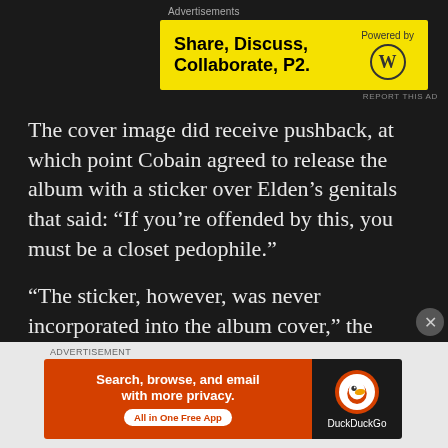[Figure (screenshot): Yellow advertisement banner for P2 WordPress product reading 'Share, Discuss, Collaborate, P2.' with 'Powered by' WordPress logo]
The cover image did receive pushback, at which point Cobain agreed to release the album with a sticker over Elden’s genitals that said: “If you’re offended by this, you must be a closet pedophile.”
“The sticker, however, was never incorporated into the album cover,” the lawsuit said.
[Figure (screenshot): Orange DuckDuckGo advertisement banner reading 'Search, browse, and email with more privacy. All in One Free App']